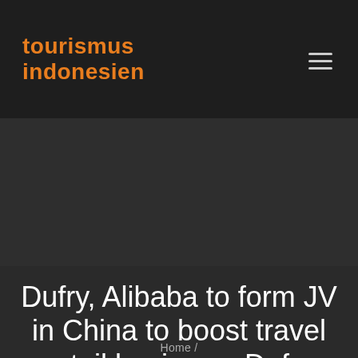tourismus indonesien
Dufry, Alibaba to form JV in China to boost travel retail business: Dufry
Home /